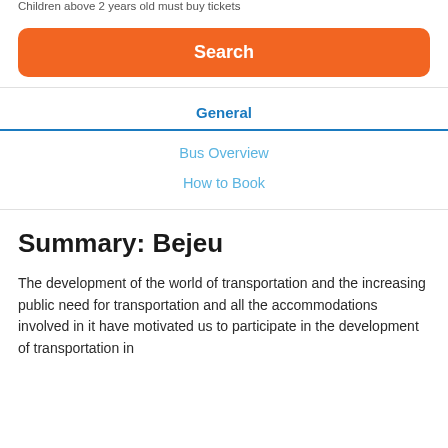Children above 2 years old must buy tickets
Search
General
Bus Overview
How to Book
Summary: Bejeu
The development of the world of transportation and the increasing public need for transportation and all the accommodations involved in it have motivated us to participate in the development of transportation in